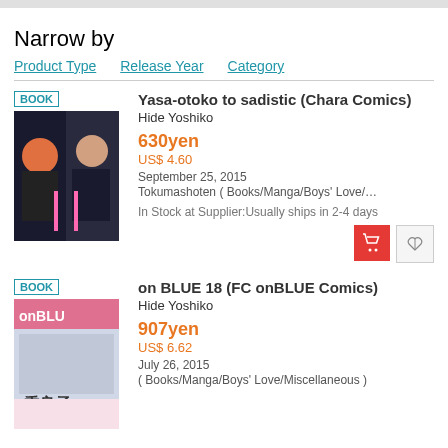Narrow by
Product Type   Release Year   Category
BOOK
Yasa-otoko to sadistic (Chara Comics)
Hide Yoshiko
630yen
US$ 4.60
September 25, 2015
Tokumashoten ( Books/Manga/Boys' Love/...
In Stock at Supplier:Usually ships in 2-4 days
BOOK
on BLUE 18 (FC onBLUE Comics)
Hide Yoshiko
907yen
US$ 6.62
July 26, 2015
( Books/Manga/Boys' Love/Miscellaneous )